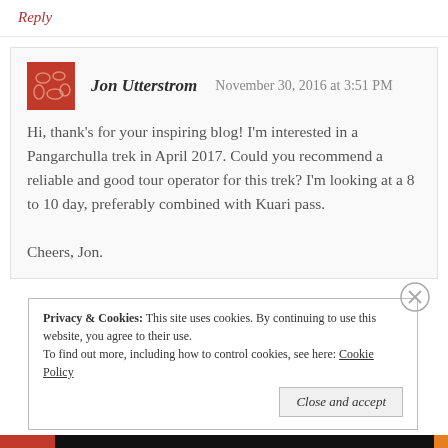Reply
Jon Utterstrom   November 30, 2016 at 3:51 PM
Hi, thank's for your inspiring blog! I'm interested in a Pangarchulla trek in April 2017. Could you recommend a reliable and good tour operator for this trek? I'm looking at a 8 to 10 day, preferably combined with Kuari pass.

Cheers, Jon.
Privacy & Cookies: This site uses cookies. By continuing to use this website, you agree to their use. To find out more, including how to control cookies, see here: Cookie Policy
Close and accept